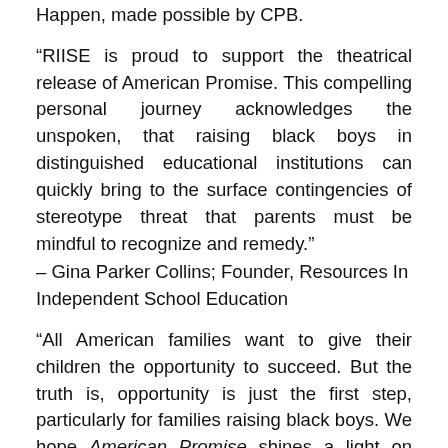Happen, made possible by CPB.
“RIISE is proud to support the theatrical release of American Promise. This compelling personal journey acknowledges the unspoken, that raising black boys in distinguished educational institutions can quickly bring to the surface contingencies of stereotype threat that parents must be mindful to recognize and remedy.”
– Gina Parker Collins; Founder, Resources In Independent School Education
“All American families want to give their children the opportunity to succeed. But the truth is, opportunity is just the first step, particularly for families raising black boys. We hope American Promise shines a light on these issues.
– Michèle Stephenson; Co-Producer, Co-Director